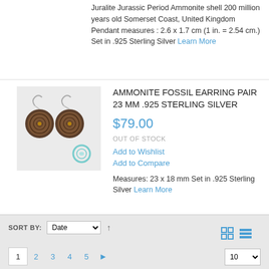Juralite Jurassic Period Ammonite shell 200 million years old Somerset Coast, United Kingdom Pendant measures : 2.6 x 1.7 cm (1 in. = 2.54 cm.) Set in .925 Sterling Silver Learn More
[Figure (photo): Pair of ammonite fossil earrings set in .925 sterling silver with a small circular charm]
AMMONITE FOSSIL EARRING PAIR 23 MM .925 STERLING SILVER
$79.00
OUT OF STOCK
Add to Wishlist
Add to Compare
Measures: 23 x 18 mm Set in .925 Sterling Silver Learn More